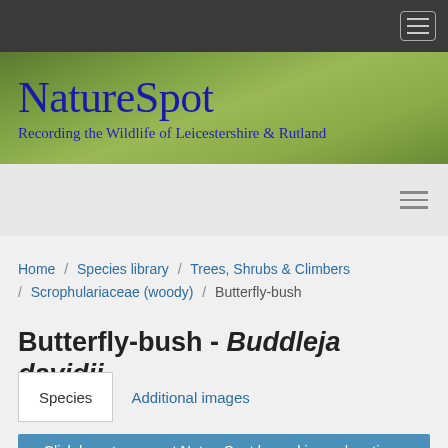[Figure (logo): NatureSpot website logo banner with text 'NatureSpot - Recording the Wildlife of Leicestershire & Rutland' on a green blurred background]
Home / Species library / Trees, Shrubs & Climbers / Scrophulariaceae (woody) / Butterfly-bush
Butterfly-bush - Buddleja davidii
Species   Additional images
Click here to support NatureSpot by making a donation - small or large - your gift is very much appreciated. Thank you.